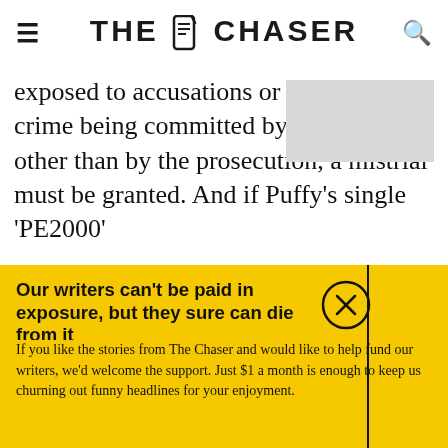THE CHASER
exposed to accusations or evidence of a crime being committed by the accused other than by the prosecution, a mistrial must be granted. And if Puffy's single 'PE2000'
Our writers can't be paid in exposure, but they sure can die from it
If you like the stories from The Chaser and would like to help fund our writers, we'd welcome the support. Just $1 a month is enough to keep us churning out funny headlines for your enjoyment.
Support The Chaser
Sick of this popup? Click here to never see this again.